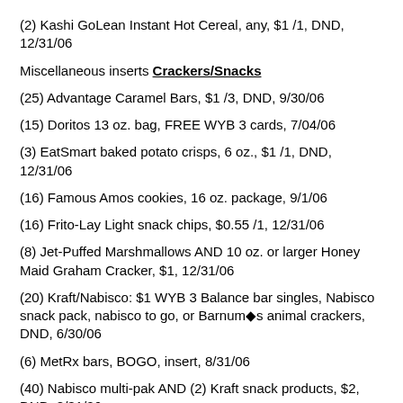(2) Kashi GoLean Instant Hot Cereal, any, $1 /1, DND, 12/31/06
Miscellaneous inserts Crackers/Snacks
(25) Advantage Caramel Bars, $1 /3, DND, 9/30/06
(15) Doritos 13 oz. bag, FREE WYB 3 cards, 7/04/06
(3) EatSmart baked potato crisps, 6 oz., $1 /1, DND, 12/31/06
(16) Famous Amos cookies, 16 oz. package, 9/1/06
(16) Frito-Lay Light snack chips, $0.55 /1, 12/31/06
(8) Jet-Puffed Marshmallows AND 10 oz. or larger Honey Maid Graham Cracker, $1, 12/31/06
(20) Kraft/Nabisco: $1 WYB 3 Balance bar singles, Nabisco snack pack, nabisco to go, or Barnum◆s animal crackers, DND, 6/30/06
(6) MetRx bars, BOGO, insert, 8/31/06
(40) Nabisco multi-pak AND (2) Kraft snack products, $2, DND, 8/31/06
(5) Nabisco Honey Maid chocolate covered sticks, 10 oz., $0.75/1, DND, ...